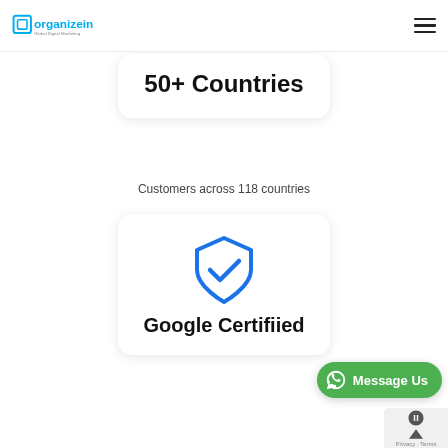organizein Global Digital Marketing
50+ Countries
Customers across 118 countries
[Figure (illustration): Blue shield with checkmark icon representing Google Certified status]
Google Certifiied
Google Certified